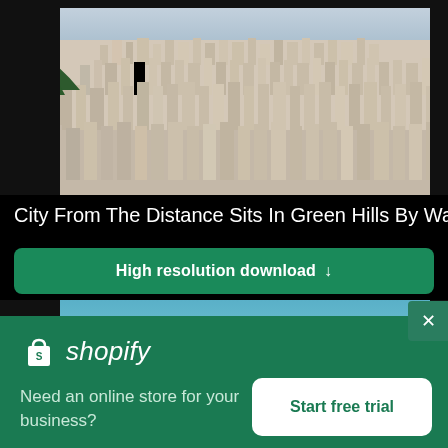[Figure (photo): Aerial view of a dense city with buildings nestled among green hills near water, viewed from a distance]
City From The Distance Sits In Green Hills By Water
[Figure (other): Green download button reading 'High resolution download' with a downward arrow]
[Figure (photo): Partial view of a blue sky scene, partially obscured by overlay]
[Figure (screenshot): Shopify advertisement banner with logo, text 'Need an online store for your business?' and 'Start free trial' button]